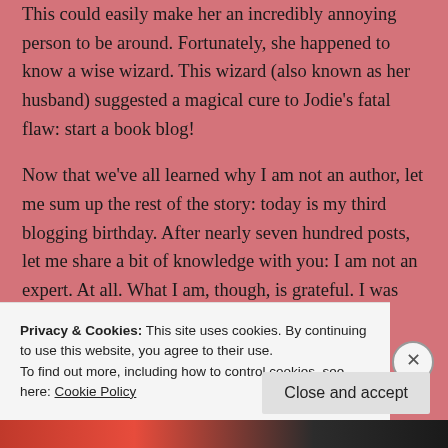This could easily make her an incredibly annoying person to be around. Fortunately, she happened to know a wise wizard. This wizard (also known as her husband) suggested a magical cure to Jodie's fatal flaw: start a book blog!
Now that we've all learned why I am not an author, let me sum up the rest of the story: today is my third blogging birthday. After nearly seven hundred posts, let me share a bit of knowledge with you: I am not an expert. At all. What I am, though, is grateful. I was
Privacy & Cookies: This site uses cookies. By continuing to use this website, you agree to their use.
To find out more, including how to control cookies, see here: Cookie Policy
Close and accept